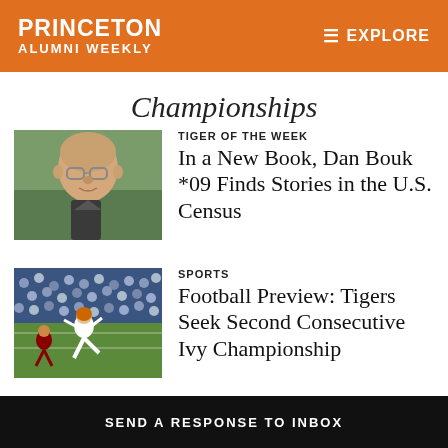PRINCETON ALUMNI WEEKLY | EXPLORE
Championships
TIGER OF THE WEEK
In a New Book, Dan Bouk *09 Finds Stories in the U.S. Census
[Figure (photo): Headshot of Dan Bouk, a bald man with glasses]
SPORTS
Football Preview: Tigers Seek Second Consecutive Ivy Championship
[Figure (photo): Football game action photo with players on field and crowd in background]
SEND A RESPONSE TO INBOX